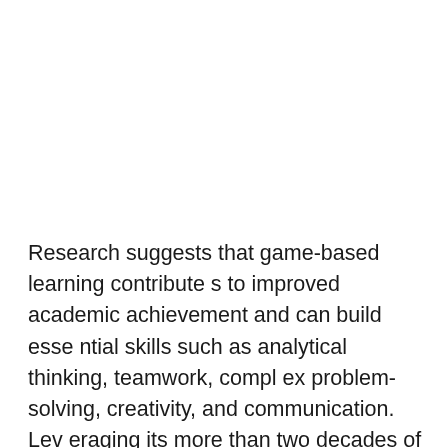Research suggests that game-based learning contributes to improved academic achievement and can build essential skills such as analytical thinking, teamwork, complex problem-solving, creativity, and communication. Leveraging its more than two decades of experience supporting learners worldwide, Stride will work with international gaming platform Minecraft© to create an Ocean Decade Sustainable World Project, where students will contribute solutions to the very real challenges facing our oceans.